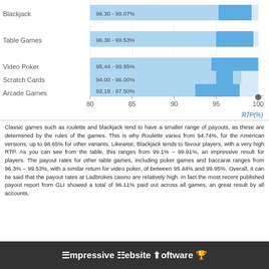[Figure (bar-chart): RTP by Game Category]
Classic games such as roulette and blackjack tend to have a smaller range of payouts, as these are determined by the rules of the games. This is why Roulette varies from 94.74%, for the American versions, up to 98.65% for other variants. Likewise, Blackjack tends to favour players, with a very high RTP. As you can see from the table, this ranges from 99.1% – 99.91%, an impressive result for players. The payout rates for other table games, including poker games and baccarat ranges from 96.3% – 99.53%, with a similar return for video poker, of between 95.44% and 99.95%. Overall, it can be said that the payout rates at Ladbrokes casino are relatively high. In fact the most recent published payout report from GLI showed a total of 96.11% paid out across all games, an great result by all accounts.
Impressive Website and Software